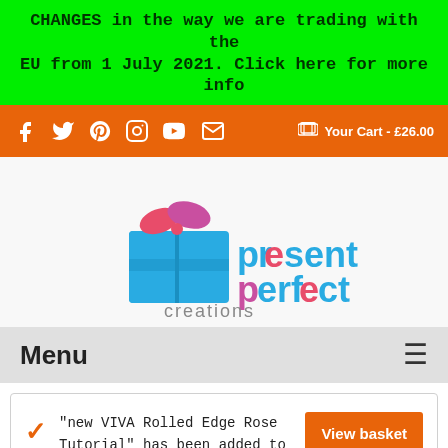CHANGES in the way we are trading with the EU from 1 July 2021. Click here for more info
f  Twitter  Pinterest  Instagram  YouTube  Email  Your Cart - £26.00
[Figure (logo): Present Perfect Creations logo: a blue gift box with pink bow and colourful text 'present perfect creations']
Menu
"new VIVA Rolled Edge Rose Tutorial" has been added to your basket.